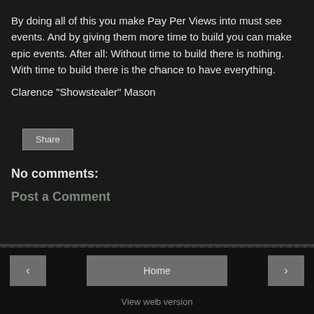By doing all of this you make Pay Per Views into must see events. And by giving them more time to build you can make epic events. After all: Without time to build there is nothing. With time to build there is the chance to have everything.
Clarence "Showstealer" Mason
Share
No comments:
Post a Comment
< Home > View web version